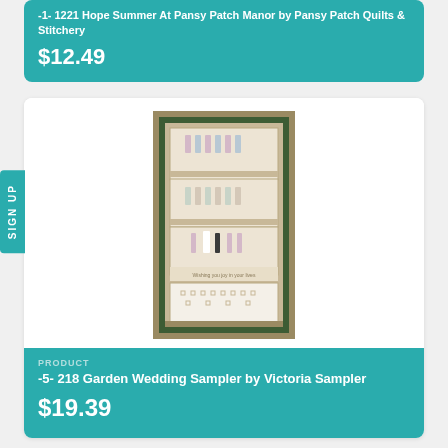PRODUCT
-1- 1221 Hope  Summer At Pansy Patch Manor by Pansy Patch Quilts & Stitchery
$12.49
[Figure (photo): Framed cross-stitch Garden Wedding Sampler showing multiple panels with wedding party figures, surrounded by greenery.]
PRODUCT
-5- 218 Garden Wedding Sampler by Victoria Sampler
$19.39